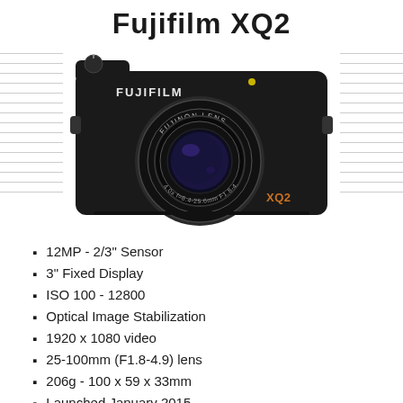Fujifilm XQ2
[Figure (photo): Fujifilm XQ2 compact camera, black body, with Fujinon lens, XQ2 label on front, shown against white background with decorative horizontal lines on left and right sides.]
12MP - 2/3" Sensor
3" Fixed Display
ISO 100 - 12800
Optical Image Stabilization
1920 x 1080 video
25-100mm (F1.8-4.9) lens
206g - 100 x 59 x 33mm
Launched January 2015
Replaced the Fujifilm XQ1